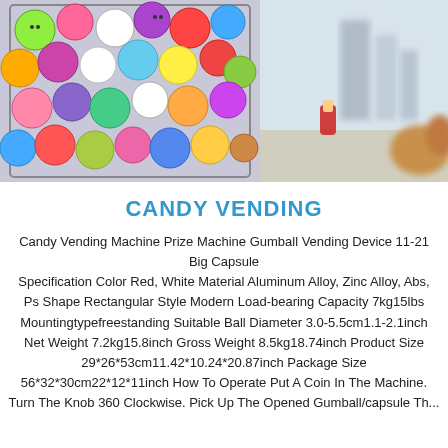[Figure (photo): Left: colorful gumball/capsule toy balls in a transparent vending machine container. Right: blurred background with buildings and a child's hand holding a red object, and a dog partially visible.]
CANDY VENDING
Candy Vending Machine Prize Machine Gumball Vending Device 11-21 Big Capsule Specification Color Red, White Material Aluminum Alloy, Zinc Alloy, Abs, Ps Shape Rectangular Style Modern Load-bearing Capacity 7kg15lbs Mountingtypefreestanding Suitable Ball Diameter 3.0-5.5cm1.1-2.1inch Net Weight 7.2kg15.8inch Gross Weight 8.5kg18.74inch Product Size 29*26*53cm11.42*10.24*20.87inch Package Size 56*32*30cm22*12*11inch How To Operate Put A Coin In The Machine. Turn The Knob 360 Clockwise. Pick Up The Opened Gumball/capsule Th...